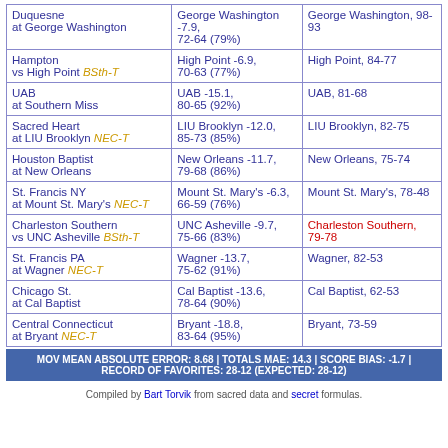| Matchup | Prediction | Result |
| --- | --- | --- |
| Duquesne at George Washington | George Washington -7.9, 72-64 (79%) | George Washington, 98-93 |
| Hampton vs High Point BSth-T | High Point -6.9, 70-63 (77%) | High Point, 84-77 |
| UAB at Southern Miss | UAB -15.1, 80-65 (92%) | UAB, 81-68 |
| Sacred Heart at LIU Brooklyn NEC-T | LIU Brooklyn -12.0, 85-73 (85%) | LIU Brooklyn, 82-75 |
| Houston Baptist at New Orleans | New Orleans -11.7, 79-68 (86%) | New Orleans, 75-74 |
| St. Francis NY at Mount St. Mary's NEC-T | Mount St. Mary's -6.3, 66-59 (76%) | Mount St. Mary's, 78-48 |
| Charleston Southern vs UNC Asheville BSth-T | UNC Asheville -9.7, 75-66 (83%) | Charleston Southern, 79-78 (UPSET) |
| St. Francis PA at Wagner NEC-T | Wagner -13.7, 75-62 (91%) | Wagner, 82-53 |
| Chicago St. at Cal Baptist | Cal Baptist -13.6, 78-64 (90%) | Cal Baptist, 62-53 |
| Central Connecticut at Bryant NEC-T | Bryant -18.8, 83-64 (95%) | Bryant, 73-59 |
MOV MEAN ABSOLUTE ERROR: 8.68 | TOTALS MAE: 14.3 | SCORE BIAS: -1.7 | RECORD OF FAVORITES: 28-12 (EXPECTED: 28-12)
Compiled by Bart Torvik from sacred data and secret formulas.